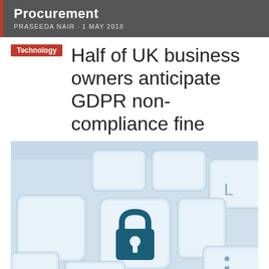Procurement
PRASEEDA NAIR · 1 MAY 2018
Technology
Half of UK business owners anticipate GDPR non-compliance fine
[Figure (photo): Close-up photo of light blue computer keyboard keys, with a central key featuring a dark blue padlock icon with a keyhole, suggesting data security and encryption.]